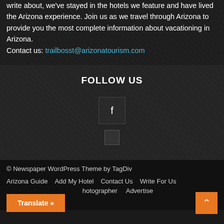write about, we've stayed in the hotels we feature and have lived the Arizona experience. Join us as we travel through Arizona to provide you the most complete information about vacationing in Arizona.
Contact us: trailbosst@arizonatourism.com
FOLLOW US
[Figure (other): Facebook icon button - dark square with lowercase f]
© Newspaper WordPress Theme by TagDiv
Arizona Guide    Add My Hotel    Contact Us    Write For Us
Photographer    Advertise
Translate »